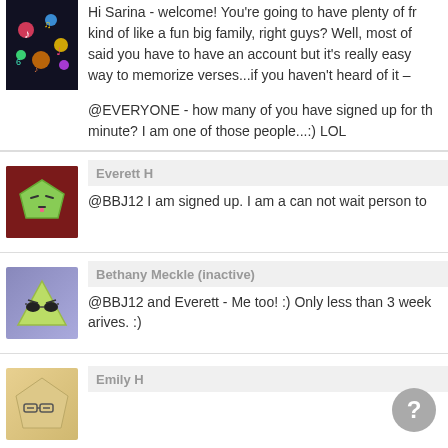[Figure (photo): Colorful music notes avatar with dark background, partial view at top]
Hi Sarina - welcome! You're going to have plenty of fr... kind of like a fun big family, right guys? Well, most of... said you have to have an account but it's really easy... way to memorize verses...if you haven't heard of it –

@EVERYONE - how many of you have signed up for th... minute? I am one of those people...:) LOL
[Figure (illustration): Green pentagon face with eyes closed, dark red background — Everett H avatar]
Everett H
@BBJ12 I am signed up. I am a can not wait person to...
[Figure (illustration): Green triangle character with sunglasses, purple/blue background — Bethany Meckle avatar]
Bethany Meckle (inactive)
@BBJ12 and Everett - Me too! :) Only less than 3 week... arives. :)
[Figure (illustration): Beige/tan pentagon face with glasses, partial view — Emily H avatar]
Emily H
[Figure (illustration): Grey circle with question mark speech bubble icon]